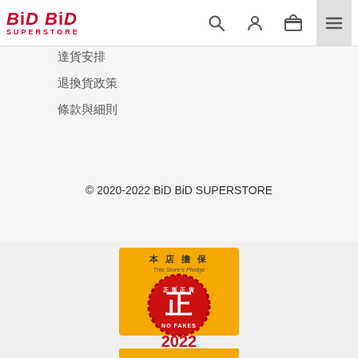BiD BiD SUPERSTORE
達貨安排
退換貨政策
條款與細則
© 2020-2022 BiD BiD SUPERSTORE
[Figure (logo): Red wax seal badge with Chinese text 正版正貨 and English 'NO FAKES', year 2022, on gold/orange background with 本店擔保 This Store's Pledge text]